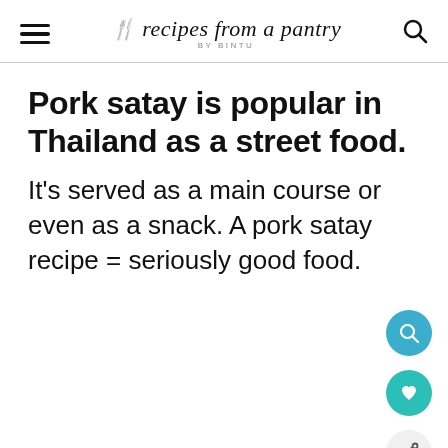recipes from a pantry BY BINTU
Pork satay is popular in Thailand as a street food.
It's served as a main course or even as a snack. A pork satay recipe = seriously good food.